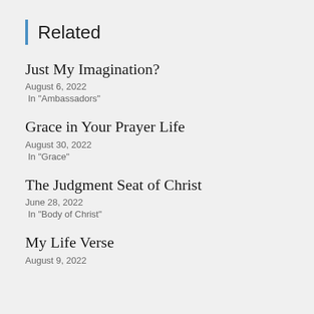Related
Just My Imagination?
August 6, 2022
In "Ambassadors"
Grace in Your Prayer Life
August 30, 2022
In "Grace"
The Judgment Seat of Christ
June 28, 2022
In "Body of Christ"
My Life Verse
August 9, 2022